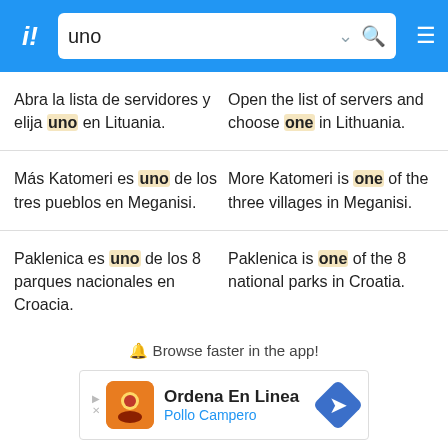i! uno [search bar with chevron and search icon, hamburger menu]
Abra la lista de servidores y elija uno en Lituania.
Open the list of servers and choose one in Lithuania.
Más Katomeri es uno de los tres pueblos en Meganisi.
More Katomeri is one of the three villages in Meganisi.
Paklenica es uno de los 8 parques nacionales en Croacia.
Paklenica is one of the 8 national parks in Croatia.
🔔 Browse faster in the app!
[Figure (screenshot): Advertisement for Ordena En Linea - Pollo Campero with orange logo icon and blue diamond arrow]